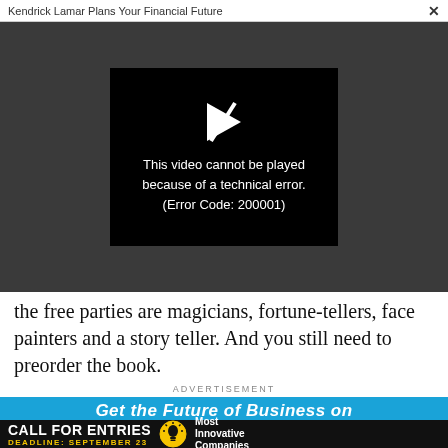Kendrick Lamar Plans Your Financial Future  ×
[Figure (screenshot): Video player showing error: 'This video cannot be played because of a technical error. (Error Code: 200001)' with a play icon with an X through it on a black background, set within a dark gray video area.]
the free parties are magicians, fortune-tellers, face painters and a story teller. And you still need to preorder the book.
ADVERTISEMENT
[Figure (screenshot): Blue advertisement banner with italic bold white text partially visible reading 'Get the Future of Business on']
[Figure (screenshot): Black banner ad: CALL FOR ENTRIES with lightbulb icon and text 'Most Innovative Companies', DEADLINE: SEPTEMBER 23]